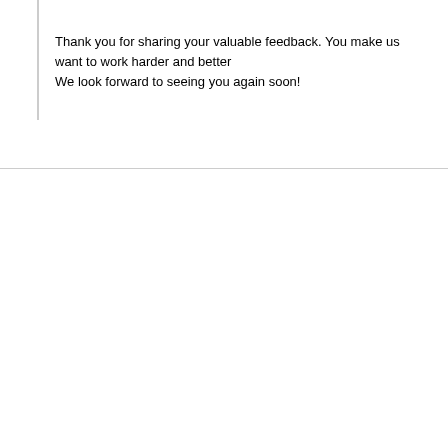Thank you for sharing your valuable feedback. You make us want to work harder and better
We look forward to seeing you again soon!